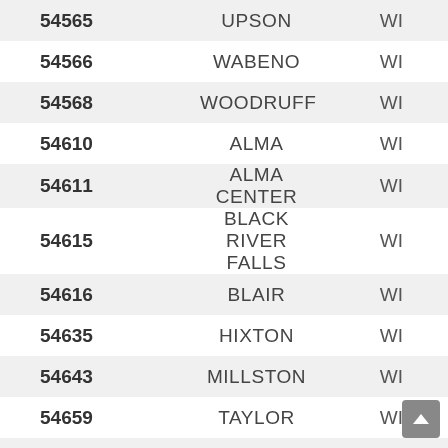| ZIP | City | State |
| --- | --- | --- |
| 54565 | UPSON | WI |
| 54566 | WABENO | WI |
| 54568 | WOODRUFF | WI |
| 54610 | ALMA | WI |
| 54611 | ALMA CENTER | WI |
| 54615 | BLACK RIVER FALLS | WI |
| 54616 | BLAIR | WI |
| 54635 | HIXTON | WI |
| 54643 | MILLSTON | WI |
| 54659 | TAYLOR | WI |
| 54701 | EAU CLAIRE | WI |